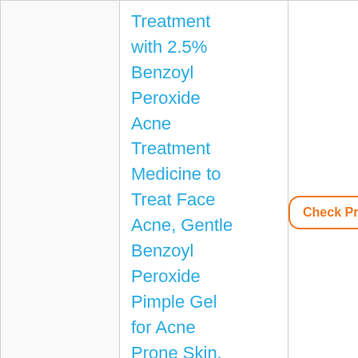| Image | Product Name | Action |
| --- | --- | --- |
| [image] | Treatment with 2.5% Benzoyl Peroxide Acne Treatment Medicine to Treat Face Acne, Gentle Benzoyl Peroxide Pimple Gel for Acne Prone Skin, .75 oz by Neutrogena | Check Price |
| [image] | Neutrogena |  |